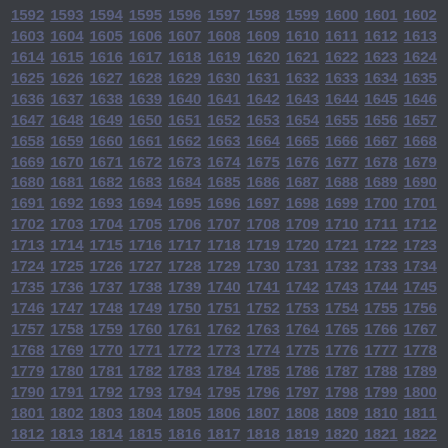1592 1593 1594 1595 1596 1597 1598 1599 1600 1601 1602 1603 1604 1605 1606 1607 1608 1609 1610 1611 1612 1613 1614 1615 1616 1617 1618 1619 1620 1621 1622 1623 1624 1625 1626 1627 1628 1629 1630 1631 1632 1633 1634 1635 1636 1637 1638 1639 1640 1641 1642 1643 1644 1645 1646 1647 1648 1649 1650 1651 1652 1653 1654 1655 1656 1657 1658 1659 1660 1661 1662 1663 1664 1665 1666 1667 1668 1669 1670 1671 1672 1673 1674 1675 1676 1677 1678 1679 1680 1681 1682 1683 1684 1685 1686 1687 1688 1689 1690 1691 1692 1693 1694 1695 1696 1697 1698 1699 1700 1701 1702 1703 1704 1705 1706 1707 1708 1709 1710 1711 1712 1713 1714 1715 1716 1717 1718 1719 1720 1721 1722 1723 1724 1725 1726 1727 1728 1729 1730 1731 1732 1733 1734 1735 1736 1737 1738 1739 1740 1741 1742 1743 1744 1745 1746 1747 1748 1749 1750 1751 1752 1753 1754 1755 1756 1757 1758 1759 1760 1761 1762 1763 1764 1765 1766 1767 1768 1769 1770 1771 1772 1773 1774 1775 1776 1777 1778 1779 1780 1781 1782 1783 1784 1785 1786 1787 1788 1789 1790 1791 1792 1793 1794 1795 1796 1797 1798 1799 1800 1801 1802 1803 1804 1805 1806 1807 1808 1809 1810 1811 1812 1813 1814 1815 1816 1817 1818 1819 1820 1821 1822